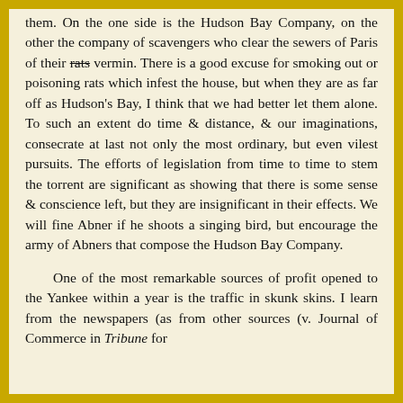them. On the one side is the Hudson Bay Company, on the other the company of scavengers who clear the sewers of Paris of their rats vermin. There is a good excuse for smoking out or poisoning rats which infest the house, but when they are as far off as Hudson's Bay, I think that we had better let them alone. To such an extent do time & distance, & our imaginations, consecrate at last not only the most ordinary, but even vilest pursuits. The efforts of legislation from time to time to stem the torrent are significant as showing that there is some sense & conscience left, but they are insignificant in their effects. We will fine Abner if he shoots a singing bird, but encourage the army of Abners that compose the Hudson Bay Company.
One of the most remarkable sources of profit opened to the Yankee within a year is the traffic in skunk skins. I learn from the newspapers (as from other sources (v. Journal of Commerce in Tribune for